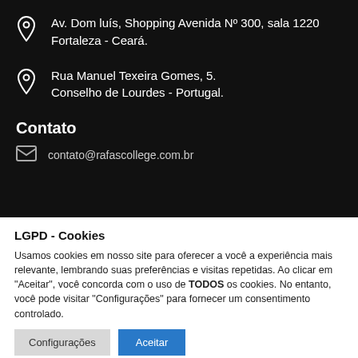Av. Dom luís, Shopping Avenida Nº 300, sala 1220 Fortaleza - Ceará.
Rua Manuel Texeira Gomes, 5. Conselho de Lourdes - Portugal.
Contato
contato@rafascollege.com.br
LGPD - Cookies
Usamos cookies em nosso site para oferecer a você a experiência mais relevante, lembrando suas preferências e visitas repetidas. Ao clicar em "Aceitar", você concorda com o uso de TODOS os cookies. No entanto, você pode visitar "Configurações" para fornecer um consentimento controlado.
Configurações
Aceitar